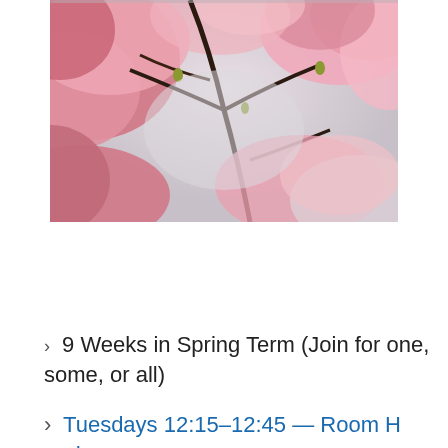[Figure (photo): Close-up photograph of pink magnolia blossoms on dark branches against a pale grey-white sky background]
9 Weeks in Spring Term (Join for one, some, or all)
Tuesdays 12:15–12:45 — Room H and...